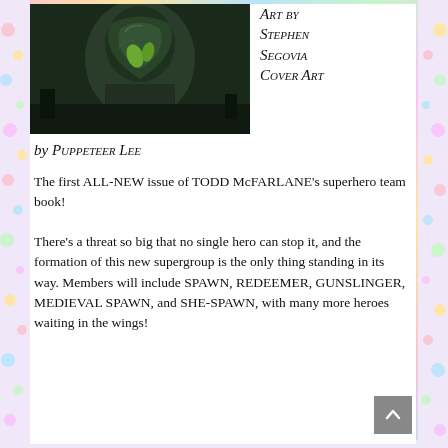[Figure (illustration): Cover art showing a dark green armored figure, likely Spawn character, rendered in detailed comic book style with green and black tones]
Art by Stephen Segovia Cover Art
by Puppeteer Lee
The first ALL-NEW issue of TODD McFARLANE's superhero team book!
There's a threat so big that no single hero can stop it, and the formation of this new supergroup is the only thing standing in its way. Members will include SPAWN, REDEEMER, GUNSLINGER, MEDIEVAL SPAWN, and SHE-SPAWN, with many more heroes waiting in the wings!